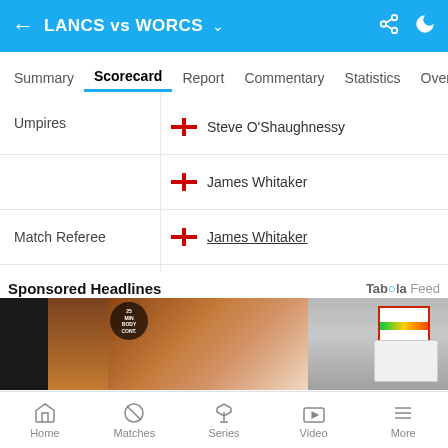LANCS vs WORCS
Summary  Scorecard  Report  Commentary  Statistics  Over
| Label | Value |
| --- | --- |
| Umpires | Steve O'Shaughnessy |
|  | James Whitaker |
| Match Referee | James Whitaker |
| Points | Lancashire 2, Worcestershire 0 |
Sponsored Headlines
[Figure (photo): Advertisement photo showing a woman lying back in a body contouring machine, with medical/beauty equipment visible on the right side. Badge reads '25 MIN BODY CONTOURING'.]
Home  Matches  Series  Video  More